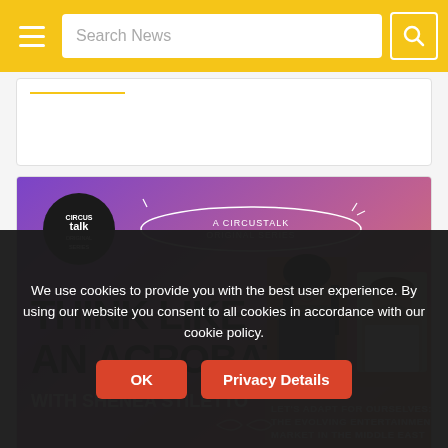Search News
[Figure (screenshot): A CircusTalk Original Series - Think Like An Acrobat with Shenea Stiletto. Let's Adapt For Ourselves: The Evolving Entertainment Market in the Middle East with Dan Bolton. Purple/orange gradient background with two portrait photos.]
We use cookies to provide you with the best user experience. By using our website you consent to all cookies in accordance with our cookie policy.
OK    Privacy Details